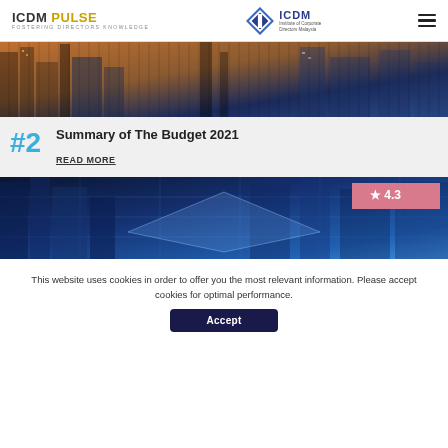ICDM PULSE | FOSTERING DIRECTORS KNOWLEDGE | Institute of Corporate Directors Malaysia
[Figure (photo): Aerial view of city skyscrapers with warm orange and blue tones]
#2
Summary of The Budget 2021
READ MORE
[Figure (photo): Blue-toned city skyscrapers at night with a 4.3 star rating badge]
This website uses cookies in order to offer you the most relevant information. Please accept cookies for optimal performance.
Accept